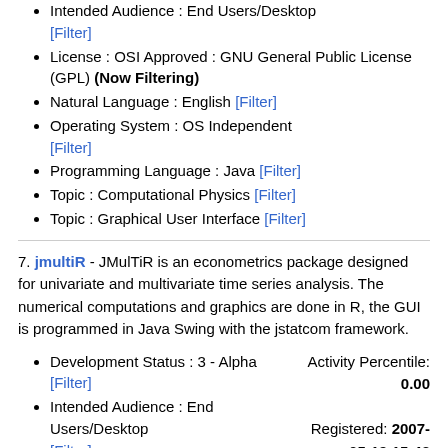Intended Audience : End Users/Desktop [Filter]
License : OSI Approved : GNU General Public License (GPL) (Now Filtering)
Natural Language : English [Filter]
Operating System : OS Independent [Filter]
Programming Language : Java [Filter]
Topic : Computational Physics [Filter]
Topic : Graphical User Interface [Filter]
7. jmultiR - JMulTiR is an econometrics package designed for univariate and multivariate time series analysis. The numerical computations and graphics are done in R, the GUI is programmed in Java Swing with the jstatcom framework.
Development Status : 3 - Alpha [Filter]
Intended Audience : End Users/Desktop [Filter]
License : OSI Approved : GNU General Public License (GPL) (Now Filtering)
Natural Language : English [Filter]
Natural Language : German [Filter]
Operating System : MacOS [Filter]
Operating System : Microsoft [Filter]
Operating System : POSIX [Filter]
Programming Language : Java [Filter]
Activity Percentile: 0.00
Registered: 2007-05-19 15:43